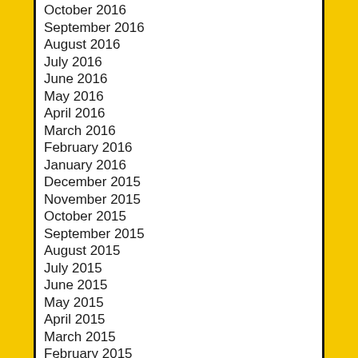October 2016
September 2016
August 2016
July 2016
June 2016
May 2016
April 2016
March 2016
February 2016
January 2016
December 2015
November 2015
October 2015
September 2015
August 2015
July 2015
June 2015
May 2015
April 2015
March 2015
February 2015
January 2015
December 2014
November 2014
October 2014